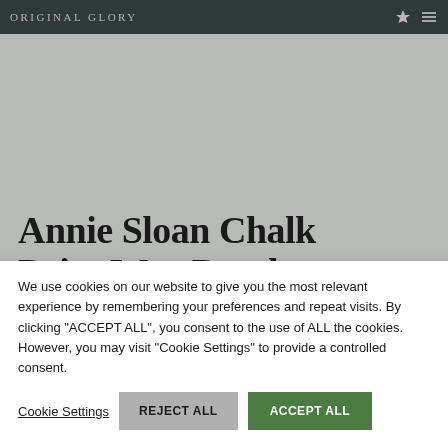ORIGINAL GLORY
[Figure (photo): Large grey/muted background hero image area behind the product title]
Annie Sloan Chalk Paint Wax Brush
We use cookies on our website to give you the most relevant experience by remembering your preferences and repeat visits. By clicking "ACCEPT ALL", you consent to the use of ALL the cookies. However, you may visit "Cookie Settings" to provide a controlled consent.
Cookie Settings   REJECT ALL   ACCEPT ALL